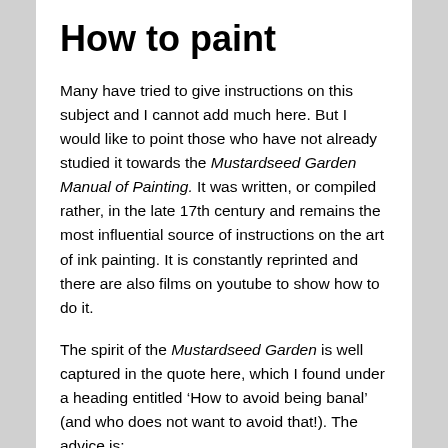How to paint
Many have tried to give instructions on this subject and I cannot add much here. But I would like to point those who have not already studied it towards the Mustardseed Garden Manual of Painting. It was written, or compiled rather, in the late 17th century and remains the most influential source of instructions on the art of ink painting. It is constantly reprinted and there are also films on youtube to show how to do it.
The spirit of the Mustardseed Garden is well captured in the quote here, which I found under a heading entitled ‘How to avoid being banal’ (and who does not want to avoid that!). The advice is:
When you paint it is better to be inexperienced than to be stupid. It is better to be audacious than to be commonplace. If you hesitate with the brush you cannot bring life to your painting, and that which is painted…